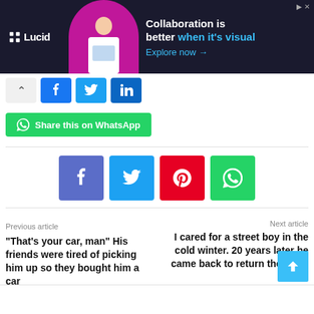[Figure (screenshot): Lucid advertisement banner with dark background, woman working at laptop with magenta circle, text: Collaboration is better when it's visual, Explore now →]
[Figure (screenshot): Social share bar with up arrow, Facebook, Twitter, LinkedIn buttons]
Share this on WhatsApp
[Figure (screenshot): Center social share buttons: Facebook (blue-purple), Twitter (light blue), Pinterest (red), WhatsApp (green)]
Previous article
"That's your car, man" His friends were tired of picking him up so they bought him a car
Next article
I cared for a street boy in the cold winter. 20 years later he came back to return the favor